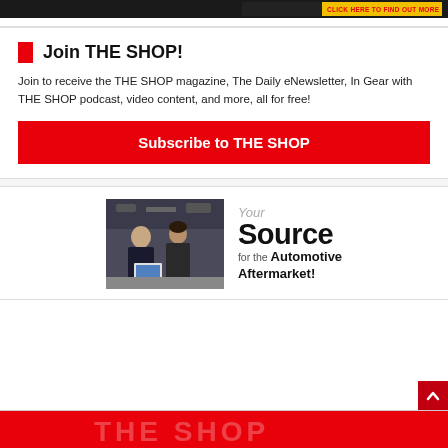[Figure (screenshot): Top banner advertisement strip with dark background on the left and yellow on the right, with red text 'CLICK HERE TO FIND OUT MORE']
Join THE SHOP!
Join to receive the THE SHOP magazine, The Daily eNewsletter, In Gear with THE SHOP podcast, video content, and more, all for free!
Subscribe to THE SHOP
[Figure (illustration): Advertisement showing two auto mechanics looking at a laptop, with text 'Your Source for the Automotive Aftermarket!']
[Figure (screenshot): Bottom red strip showing partial THE SHOP logo]